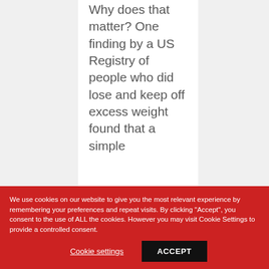Why does that matter? One finding by a US Registry of people who did lose and keep off excess weight found that a simple
We use cookies on our website to give you the most relevant experience by remembering your preferences and repeat visits. By clicking "Accept", you consent to the use of ALL the cookies. However you may visit Cookie Settings to provide a controlled consent.
Cookie settings
ACCEPT